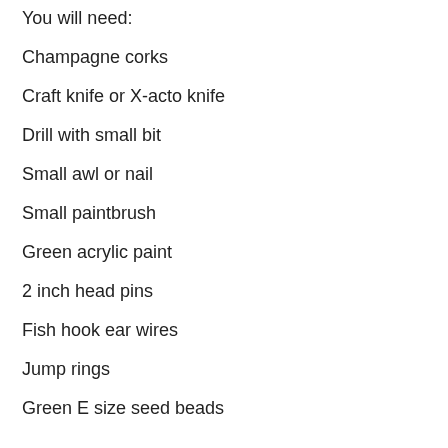You will need:
Champagne corks
Craft knife or X-acto knife
Drill with small bit
Small awl or nail
Small paintbrush
Green acrylic paint
2 inch head pins
Fish hook ear wires
Jump rings
Green E size seed beads